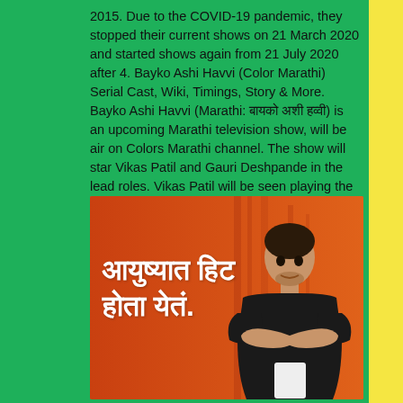2015. Due to the COVID-19 pandemic, they stopped their current shows on 21 March 2020 and started shows again from 21 July 2020 after 4. Bayko Ashi Havvi (Color Marathi) Serial Cast, Wiki, Timings, Story & More. Bayko Ashi Havvi (Marathi: बायको अशी हव्वी) is an upcoming Marathi television show, will be air on Colors Marathi channel. The show will star Vikas Patil and Gauri Deshpande in the lead roles. Vikas Patil will be seen playing the role of a.
[Figure (photo): Promotional image with orange/red background showing a young man in a black t-shirt with arms crossed, and Marathi text 'आयुष्यात हिट होता येतं.' in white bold font on the left side.]